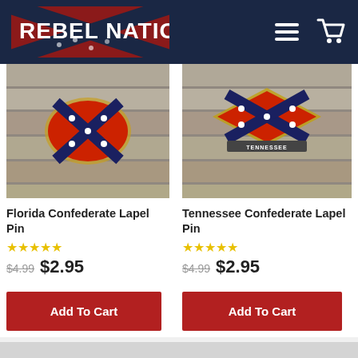REBEL NATION
[Figure (photo): Product photo of Florida Confederate Lapel Pin on wooden background]
[Figure (photo): Product photo of Tennessee Confederate Lapel Pin on wooden background]
Florida Confederate Lapel Pin
Tennessee Confederate Lapel Pin
★★★★★ $4.99 $2.95
★★★★★ $4.99 $2.95
Add To Cart
Add To Cart